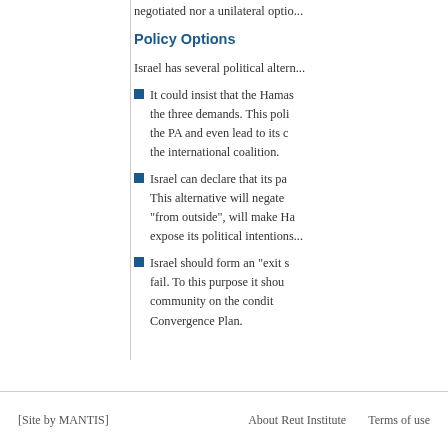negotiated nor a unilateral optio...
Policy Options
Israel has several political altern...
It could insist that the Hamas... the three demands. This poli... the PA and even lead to its c... the international coalition.
Israel can declare that its pa... This alternative will negate... "from outside", will make Ha... expose its political intentions...
Israel should form an "exit s... fail. To this purpose it shou... community on the condit... Convergence Plan.
[Site by MANTIS]     About Reut Institute     Terms of use